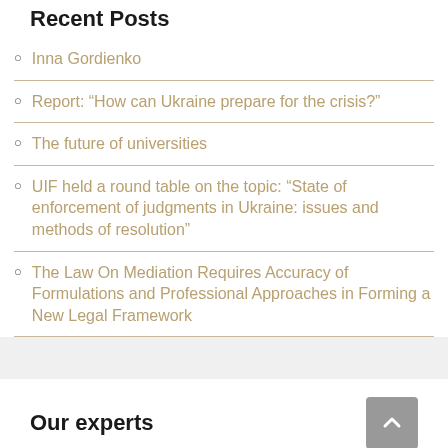Recent Posts
Inna Gordienko
Report: “How can Ukraine prepare for the crisis?”
The future of universities
UIF held a round table on the topic: “State of enforcement of judgments in Ukraine: issues and methods of resolution”
The Law On Mediation Requires Accuracy of Formulations and Professional Approaches in Forming a New Legal Framework
Our experts